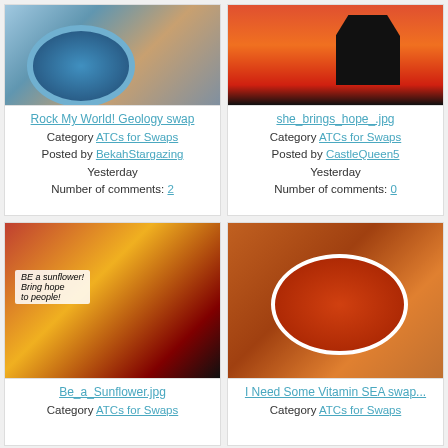[Figure (photo): Rock My World geology swap - collection of geological specimens including agate slices, fossils, and minerals]
Rock My World! Geology swap
Category ATCs for Swaps
Posted by BekahStargazing
Yesterday
Number of comments: 2
[Figure (photo): she_brings_hope.jpg - silhouette of a black cat against orange and red flames/sunset background]
she_brings_hope_.jpg
Category ATCs for Swaps
Posted by CastleQueen5
Yesterday
Number of comments: 0
[Figure (photo): Be a Sunflower - collage art with sunflower, black cat silhouette, and text saying BE a sunflower! Bring hope to people!]
Be_a_Sunflower.jpg
Category ATCs for Swaps
[Figure (photo): I Need Some Vitamin SEA swap - colorful art of fish or sea creature with red/orange and white spotted pattern]
I Need Some Vitamin SEA swap...
Category ATCs for Swaps